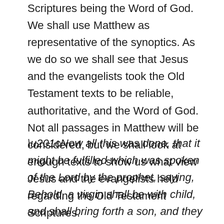Scriptures being the Word of God. We shall use Matthew as representative of the synoptics. As we do so we shall see that Jesus and the evangelists took the Old Testament texts to be reliable, authoritative, and the Word of God. Not all passages in Matthew will be considered, but we shall look at enough texts to show us what view Jesus and the evangelists held regarding the Old Testament Scriptures.
“Now all this was done, that it might be fulfilled which was spoken of the Lord by the prophet, saying, Behold, a virgin shall be with child, and shall bring forth a son, and they shall call his name